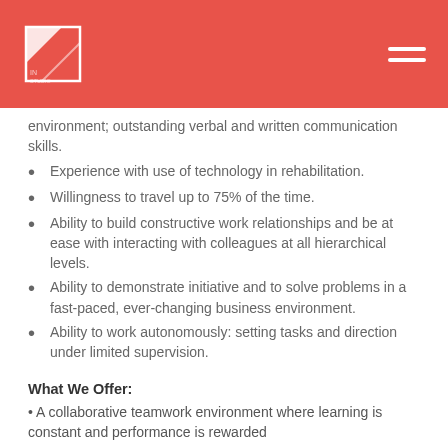environment; outstanding verbal and written communication skills.
Experience with use of technology in rehabilitation.
Willingness to travel up to 75% of the time.
Ability to build constructive work relationships and be at ease with interacting with colleagues at all hierarchical levels.
Ability to demonstrate initiative and to solve problems in a fast-paced, ever-changing business environment.
Ability to work autonomously: setting tasks and direction under limited supervision.
What We Offer:
A collaborative teamwork environment where learning is constant and performance is rewarded
The opportunity to be part of the team that is revolutionizing the treatment of some of the world's